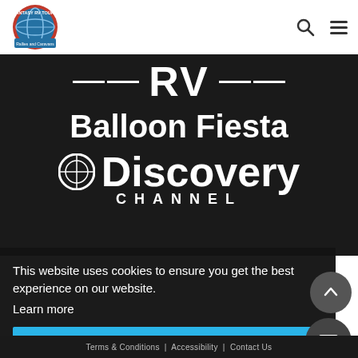[Figure (logo): Fantasy RV Tours circular logo with globe and text 'Rallies and Caravans']
[Figure (screenshot): Navigation bar with search icon and hamburger menu icon]
[Figure (illustration): Dark hero image area with white text: RV Balloon Fiesta Discovery Channel branding]
This website uses cookies to ensure you get the best experience on our website.
Learn more
[Figure (other): Blue 'Got It' or accept cookies button]
[Figure (other): Round scroll-to-top button with up arrow]
[Figure (other): Round mail/contact button with envelope icon]
Terms & Conditions   |   Accessibility   |   Contact Us